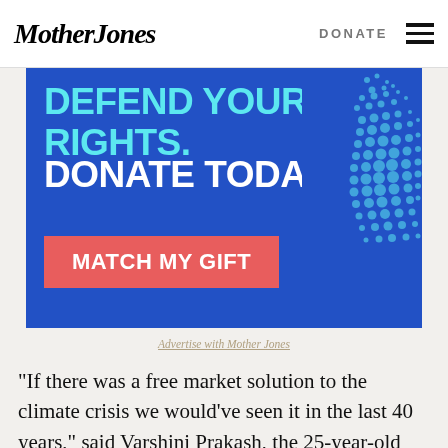Mother Jones | DONATE
[Figure (infographic): Blue advertisement banner reading 'DEFEND YOUR RIGHTS. DONATE TODAY.' with a red 'MATCH MY GIFT' button and a halftone Statue of Liberty illustration on the right side.]
Advertise with Mother Jones
“If there was a free market solution to the climate crisis we would’ve seen it in the last 40 years,” said Varshini Prakash, the 25-year-old founder of Sunrise Movement, the youth-led group that helped inspire the Green New Deal. “We don’t have decades to